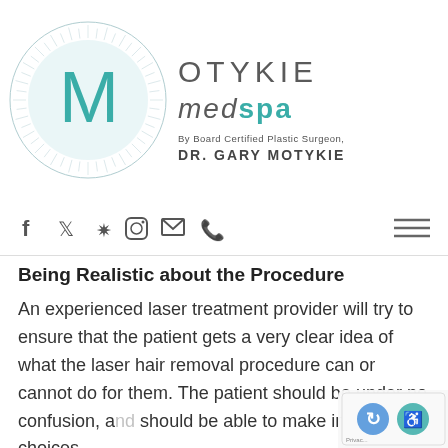[Figure (logo): Motykie MedSpa logo with circular radial design, teal M letter, and text 'By Board Certified Plastic Surgeon, DR. GARY MOTYKIE']
[Figure (infographic): Navigation bar with social media icons: Facebook, Twitter, Yelp, Instagram, Email, Phone, and hamburger menu]
Being Realistic about the Procedure
An experienced laser treatment provider will try to ensure that the patient gets a very clear idea of what the laser hair removal procedure can or cannot do for them. The patient should be under no confusion, and should be able to make informed choices